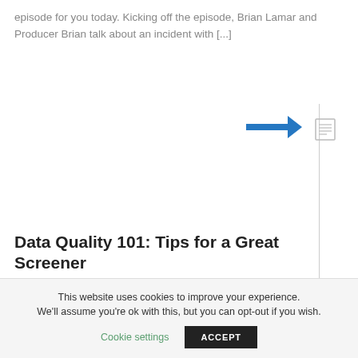episode for you today. Kicking off the episode, Brian Lamar and Producer Brian talk about an incident with [...]
[Figure (other): A blue right-pointing arrow icon and a vertical divider line with a small document icon to the right]
Data Quality 101: Tips for a Great Screener
The number one question we must ask ourselves when planning a survey is, who am I targeting? Respondents must meet the criteria you're looking for in [...]
This website uses cookies to improve your experience. We'll assume you're ok with this, but you can opt-out if you wish. Cookie settings ACCEPT